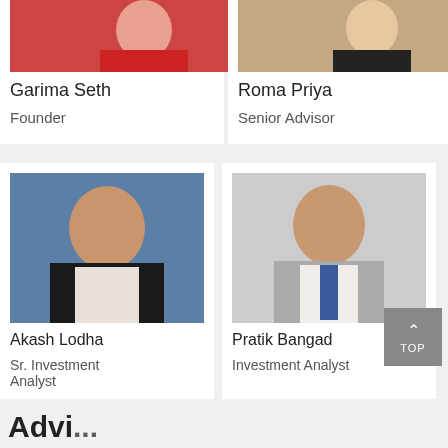[Figure (photo): Garima Seth - woman in red top, arms crossed]
Garima Seth
Founder
[Figure (photo): Roma Priya - woman in black blazer]
Roma Priya
Senior Advisor
[Figure (photo): Akash Lodha - young man in black suit, blue background]
Akash Lodha
Sr. Investment Analyst
[Figure (photo): Pratik Bangad - young man in grey suit with blue tie]
Pratik Bangad
Investment Analyst
Advisors